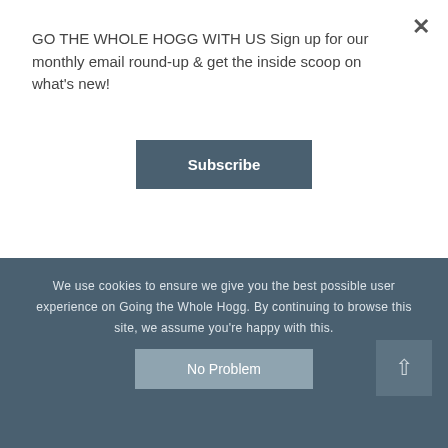GO THE WHOLE HOGG WITH US Sign up for our monthly email round-up & get the inside scoop on what's new!
Subscribe
The Students
Last, but certainly not least, there's the kids. It goes without saying that you need to have a desire to work with children to enjoy this job. Experience isn't necessary
We use cookies to ensure we give you the best possible user experience on Going the Whole Hogg. By continuing to browse this site, we assume you're happy with this.
No Problem